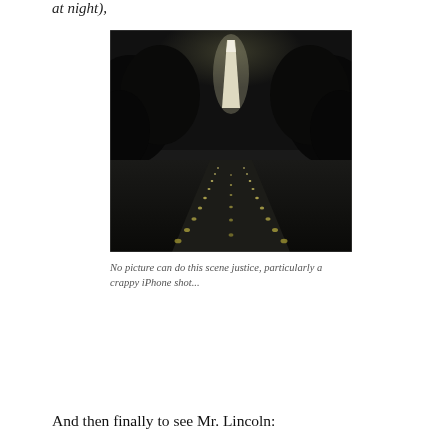at night),
[Figure (photo): Night photograph of the Washington Monument viewed from the National Mall, with rows of ground lights converging toward the illuminated obelisk in the distance, flanked by dark trees against a dark sky.]
No picture can do this scene justice, particularly a crappy iPhone shot...
And then finally to see Mr. Lincoln: